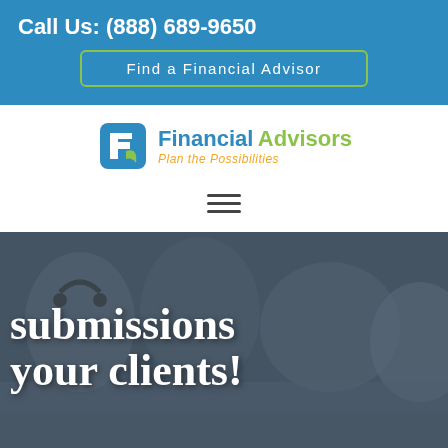Call Us: (888) 689-9650
Find a Financial Advisor
[Figure (logo): Financial Advisors logo with tagline 'Plan the Possibilities']
[Figure (infographic): Hamburger menu icon (three horizontal lines)]
[Figure (photo): Photo of people working at desks with headsets, overlaid with large white text reading 'submissions your clients!']